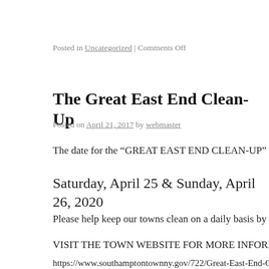Posted in Uncategorized | Comments Off
The Great East End Clean-Up
Posted on April 21, 2017 by webmaster
The date for the “GREAT EAST END CLEAN-UP” has BEEN
Saturday, April 25 & Sunday, April 26, 2020
Please help keep our towns clean on a daily basis by disposing o
VISIT THE TOWN WEBSITE FOR MORE INFORMATION
https://www.southamptontownny.gov/722/Great-East-End-Clea